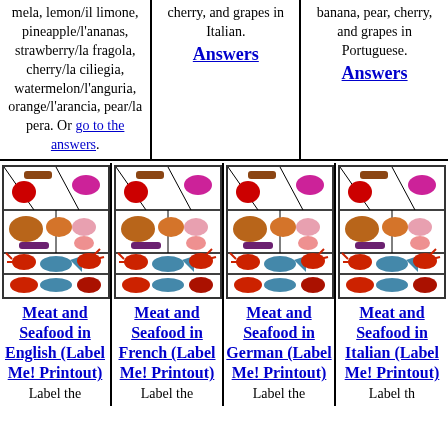mela, lemon/il limone, pineapple/l'ananas, strawberry/la fragola, cherry/la ciliegia, watermelon/l'anguria, orange/l'arancia, pear/la pera. Or go to the answers.
cherry, and grapes in Italian. Answers
banana, pear, cherry, and grapes in Portuguese. Answers
[Figure (illustration): Meat and seafood label-me illustration showing shelves with various meats and seafood items]
Meat and Seafood in English (Label Me! Printout) Label the
[Figure (illustration): Meat and seafood label-me illustration - French version]
Meat and Seafood in French (Label Me! Printout) Label the
[Figure (illustration): Meat and seafood label-me illustration - German version]
Meat and Seafood in German (Label Me! Printout) Label the
[Figure (illustration): Meat and seafood label-me illustration - Italian version]
Meat and Seafood in Italian (Label Me! Printout) Label the